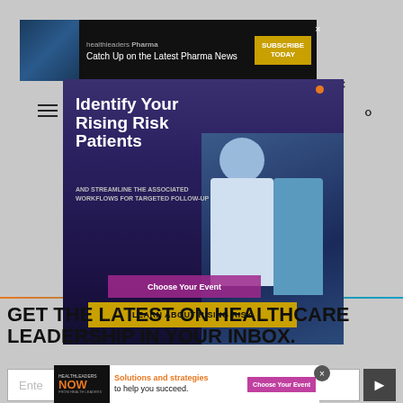[Figure (screenshot): Top banner advertisement for HealthLeaders Pharma: 'Catch Up on the Latest Pharma News' with Subscribe Today button]
[Figure (screenshot): Large popup overlay advertisement: 'Identify Your Rising Risk Patients AND STREAMLINE THE ASSOCIATED WORKFLOWS FOR TARGETED FOLLOW-UP' with doctor image and 'LEARN ABOUT RISING RISK' button]
[Figure (screenshot): Background website showing Solutions and strategies for your organization to succeed in the healthcare industry text]
GET THE LATEST ON HEALTHCARE LEADERSHIP IN YOUR INBOX.
[Figure (screenshot): Bottom strip advertisement: HealthLeaders NOW - Solutions and strategies to help you succeed. Choose Your Event button]